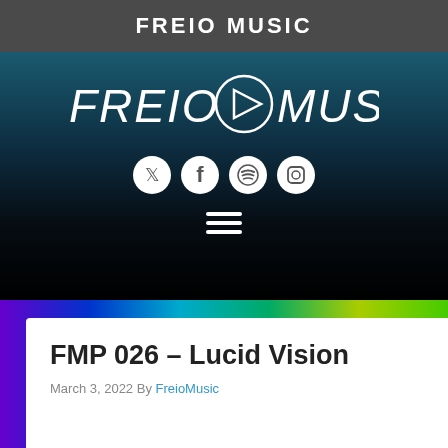FREIO MUSIC
[Figure (logo): FREIO MUSIC logo with stylized text and triangular play button icon, with social media icons (Twitter, Facebook, Spotify, Instagram) and hamburger menu below, on dark gradient background]
FMP 026 – Lucid Vision
March 3, 2022 By FreioMusic